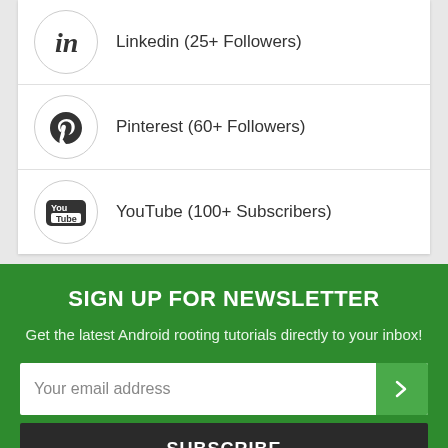Linkedin (25+ Followers)
Pinterest (60+ Followers)
YouTube (100+ Subscribers)
SIGN UP FOR NEWSLETTER
Get the latest Android rooting tutorials directly to your inbox!
Your email address
SUBSCRIBE